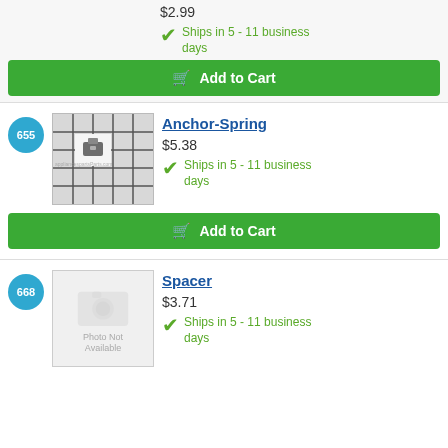$2.99
Ships in 5 - 11 business days
Add to Cart
655
[Figure (photo): Anchor-Spring part photo showing a small metal clip on a grid background]
Anchor-Spring
$5.38
Ships in 5 - 11 business days
Add to Cart
668
[Figure (photo): Photo Not Available placeholder image]
Spacer
$3.71
Ships in 5 - 11 business days